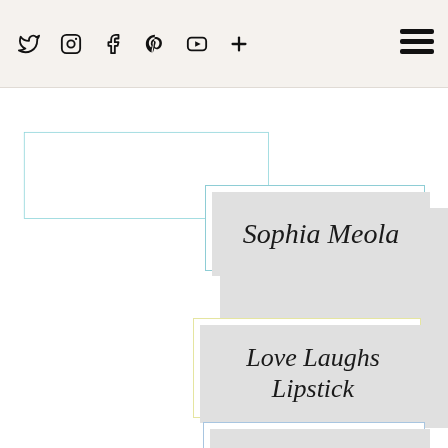Social icons: Twitter, Instagram, Facebook, Pinterest, YouTube, Plus; Hamburger menu
Sophia Meola
Love Laughs Lipstick
Zoella